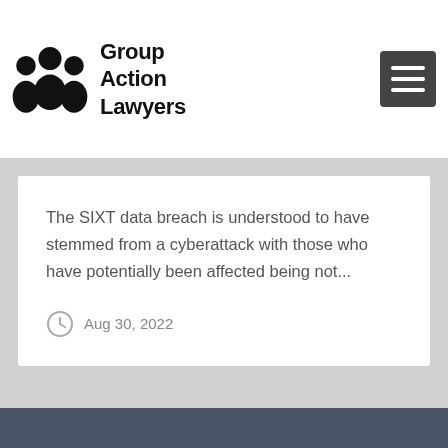[Figure (logo): Group Action Lawyers logo with three people silhouette icon and bold text reading Group Action Lawyers]
The SIXT data breach is understood to have stemmed from a cyberattack with those who have potentially been affected being not...
Aug 30, 2022